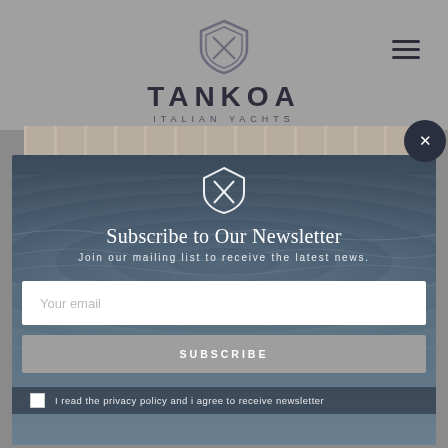[Figure (logo): Tankoa Italian Yachts logo with shield emblem above text TANKOA and subtitle ITALIAN YACHTS]
[Figure (photo): Yacht deck wooden planks photo strip]
[Figure (photo): Ocean water background with waves for newsletter modal]
[Figure (logo): Tankoa white shield logo centered in modal]
Subscribe to Our Newsletter
Join our mailing list to receive the latest news.
Your email
SUBSCRIBE
I read the privacy policy and i agree to receive newsletter